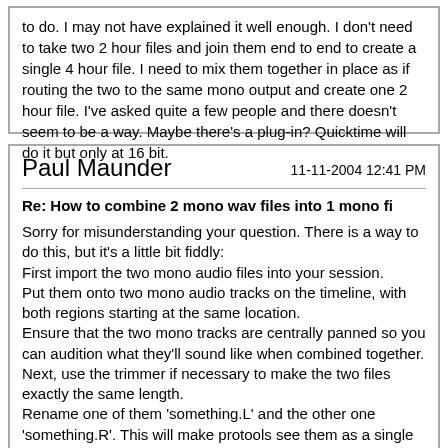to do. I may not have explained it well enough. I don't need to take two 2 hour files and join them end to end to create a single 4 hour file. I need to mix them together in place as if routing the two to the same mono output and create one 2 hour file. I've asked quite a few people and there doesn't seem to be a way. Maybe there's a plug-in? Quicktime will do it but only at 16 bit.
Paul Maunder
11-11-2004 12:41 PM
Re: How to combine 2 mono wav files into 1 mono fi
Sorry for misunderstanding your question. There is a way to do this, but it's a little bit fiddly:
First import the two mono audio files into your session.
Put them onto two mono audio tracks on the timeline, with both regions starting at the same location.
Ensure that the two mono tracks are centrally panned so you can audition what they'll sound like when combined together.
Next, use the trimmer if necessary to make the two files exactly the same length.
Rename one of them 'something.L' and the other one 'something.R'. This will make protools see them as a single stereo file rather than 2 mono ones.
Now select this 'stereo' file from the regions list and select 'export selected as files'.
By choosing to export it as mono, you'll combine the two, and much more quickly than bouncing to disk.
The only drawback of this is that you can't put in any automation data,